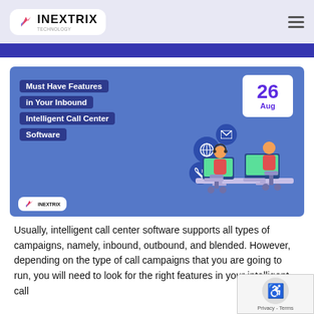INEXTRIX
[Figure (illustration): Hero banner for blog post showing call center agents at desks with monitors, with icons for email, globe, and phone overlaid on a blue background. Date badge shows 26 Aug. Title text reads: Must Have Features in Your Inbound Intelligent Call Center Software.]
Usually, intelligent call center software supports all types of campaigns, namely, inbound, outbound, and blended. However, depending on the type of call campaigns that you are going to run, you will need to look for the right features in your intelligent call